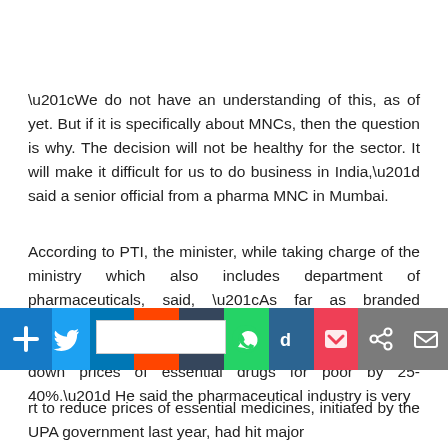“We do not have an understanding of this, as of yet. But if it is specifically about MNCs, then the question is why. The decision will not be healthy for the sector. It will make it difficult for us to do business in India,” said a senior official from a pharma MNC in Mumbai.
According to PTI, the minister, while taking charge of the ministry which also includes department of pharmaceuticals, said, “As far as branded medicines of multinational pharmaceutical companies are concerned, we will talk to all of them and try to bring down prices of essential drugs for poor by 25-40%.” He said the pharmaceutical industry is very
[Figure (infographic): Social media sharing bar with icons for Facebook, Twitter, LinkedIn, Reddit, Tumblr, WhatsApp, Digg, Pocket, GetPocket share link, Email, and an AddThis blue plus button. A white tooltip/popup box is visible over the Twitter icon area.]
rt to reduce prices of essential medicines, initiated by the UPA government last year, had hit major